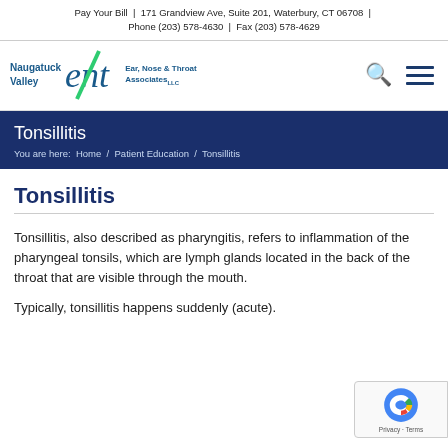Pay Your Bill | 171 Grandview Ave, Suite 201, Waterbury, CT 06708 | Phone (203) 578-4630 | Fax (203) 578-4629
[Figure (logo): Naugatuck Valley ENT - Ear, Nose & Throat Associates logo with stylized green slash through 'ent' text]
Tonsillitis
You are here:  Home  /  Patient Education  /  Tonsillitis
Tonsillitis
Tonsillitis, also described as pharyngitis, refers to inflammation of the pharyngeal tonsils, which are lymph glands located in the back of the throat that are visible through the mouth.
Typically, tonsillitis happens suddenly (acute).